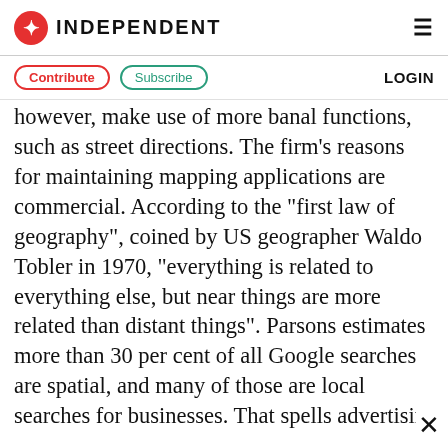INDEPENDENT
Contribute | Subscribe | LOGIN
however, make use of more banal functions, such as street directions. The firm's reasons for maintaining mapping applications are commercial. According to the "first law of geography", coined by US geographer Waldo Tobler in 1970, "everything is related to everything else, but near things are more related than distant things". Parsons estimates more than 30 per cent of all Google searches are spatial, and many of those are local searches for businesses. That spells advertising revenue